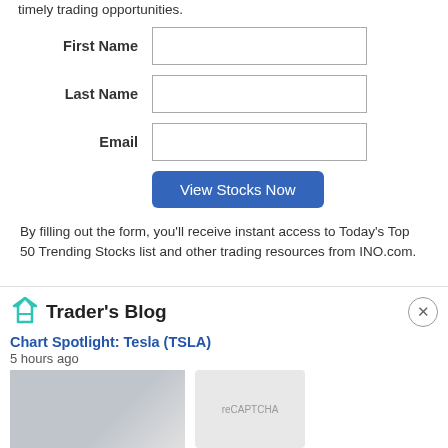timely trading opportunities.
First Name
Last Name
Email
View Stocks Now
By filling out the form, you'll receive instant access to Today's Top 50 Trending Stocks list and other trading resources from INO.com.
Trader's Blog
Chart Spotlight: Tesla (TSLA)
5 hours ago
[Figure (photo): Partial image of a Tesla vehicle, light gray background]